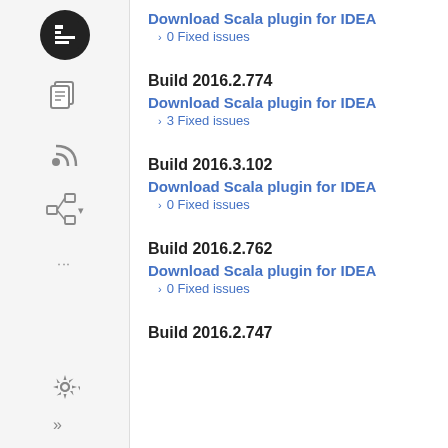[Figure (screenshot): Sidebar with JetBrains logo, document icon, RSS icon, tree/hierarchy icon, dots, gear icon, and chevron icon]
Download Scala plugin for IDEA
0 Fixed issues
Build 2016.2.774
Download Scala plugin for IDEA
3 Fixed issues
Build 2016.3.102
Download Scala plugin for IDEA
0 Fixed issues
Build 2016.2.762
Download Scala plugin for IDEA
0 Fixed issues
Build 2016.2.747